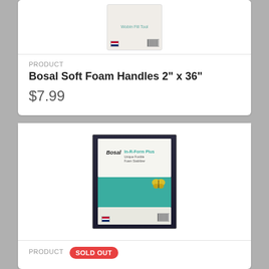[Figure (photo): Product photo of Bosal Soft Foam Handles packaging, white package with barcode]
PRODUCT
Bosal Soft Foam Handles 2" x 36"
$7.99
[Figure (photo): Product photo of Bosal In-R-Form Plus Unique Fusible Foam Stabilizer package on dark background, teal and white packaging with butterfly graphic and tote bag image]
PRODUCT
SOLD OUT